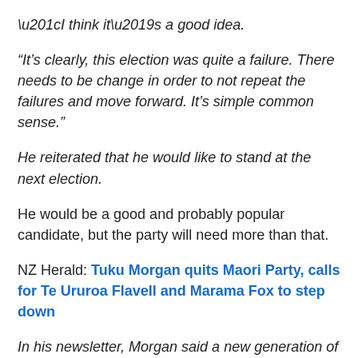“I think it’s a good idea.
“It’s clearly, this election was quite a failure. There needs to be change in order to not repeat the failures and move forward. It’s simple common sense.”
He reiterated that he would like to stand at the next election.
He would be a good and probably popular candidate, but the party will need more than that.
NZ Herald: Tuku Morgan quits Maori Party, calls for Te Ururoa Flavell and Marama Fox to step down
In his newsletter, Morgan said a new generation of leaders was needed to carry the party forward.
“Both co-leaders Marama and Te Ururoa should stand